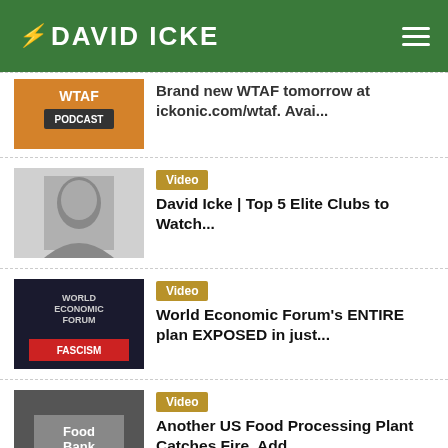DAVID ICKE
Brand new WTAF tomorrow at ickonic.com/wtaf. Avai...
[Figure (screenshot): WTAF Podcast thumbnail - orange background with text WTAF PODCAST]
[Figure (photo): Black and white photo of David Icke]
Video
David Icke | Top 5 Elite Clubs to Watch...
[Figure (photo): World Economic Forum sign with FASCISM text overlay]
Video
World Economic Forum's ENTIRE plan EXPOSED in just...
[Figure (photo): Food Bank sign]
Video
Another US Food Processing Plant Catches Fire, Add...
[Figure (photo): Electric car photo with teal background]
Article
Electric Car Journeys to Cost More Than Diesel by...